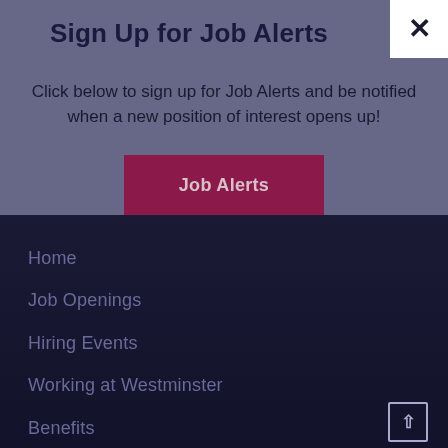Sign Up for Job Alerts
Click below to sign up for Job Alerts and be notified when a new position of interest opens up!
Job Alerts
Home
Job Openings
Hiring Events
Working at Westminster
Benefits